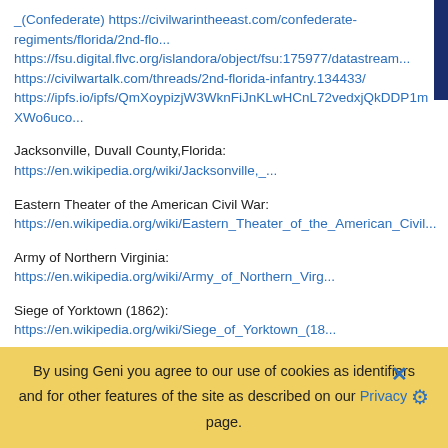_(Confederate) https://civilwarintheeast.com/confederate-regiments/florida/2nd-flo... https://fsu.digital.flvc.org/islandora/object/fsu:175977/datastream... https://civilwartalk.com/threads/2nd-florida-infantry.134433/ https://ipfs.io/ipfs/QmXoypizjW3WknFiJnKLwHCnL72vedxjQkDDP1mXWo6uco...
Jacksonville, Duvall County,Florida: https://en.wikipedia.org/wiki/Jacksonville,_...
Eastern Theater of the American Civil War: https://en.wikipedia.org/wiki/Eastern_Theater_of_the_American_Civil...
Army of Northern Virginia: https://en.wikipedia.org/wiki/Army_of_Northern_Virg...
Siege of Yorktown (1862): https://en.wikipedia.org/wiki/Siege_of_Yorktown_(18...
Peninsula Campaign: https://en.wikipedia.org/wiki/Peninsula_Campaign
Battle of Williamsburg/Battle of Fort Magruder: https://en.wikipedia.org/wiki/Bat...
Battle of Beaver Dam Creek/Battle of Mechanicsville/ Ellerson's Mill: https://en.wikipedia.org/wiki/Battle_of_Beaver_Dam_Creek
By using Geni you agree to our use of cookies as identifiers and for other features of the site as described on our Privacy page.